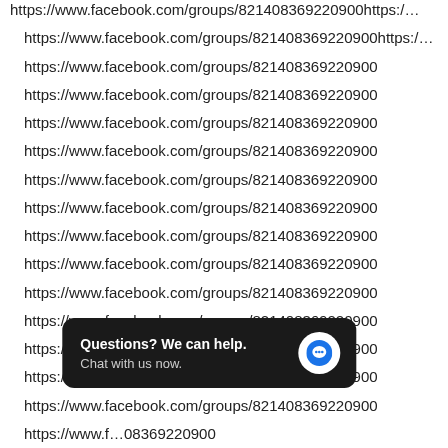https://www.facebook.com/groups/821408369220900https:/…
https://www.facebook.com/groups/821408369220900https:/…
https://www.facebook.com/groups/821408369220900
https://www.facebook.com/groups/821408369220900
https://www.facebook.com/groups/821408369220900
https://www.facebook.com/groups/821408369220900
https://www.facebook.com/groups/821408369220900
https://www.facebook.com/groups/821408369220900
https://www.facebook.com/groups/821408369220900
https://www.facebook.com/groups/821408369220900
https://www.facebook.com/groups/821408369220900
https://www.facebook.com/groups/821408369220900
https://www.facebook.com/groups/821408369220900
https://www.facebook.com/groups/821408369220900
https://www.facebook.com/groups/821408369220900
https://www.facebook.com/groups/821408369220900 [partially obscured]
https://www.facebook.com/groups/821408369220900 [partially obscured]
https://www.facebook.com/groups/821408369220900
[Figure (screenshot): Chat support popup overlay with text 'Questions? We can help. Chat with us now.' on dark background with blue chat bubble icon]